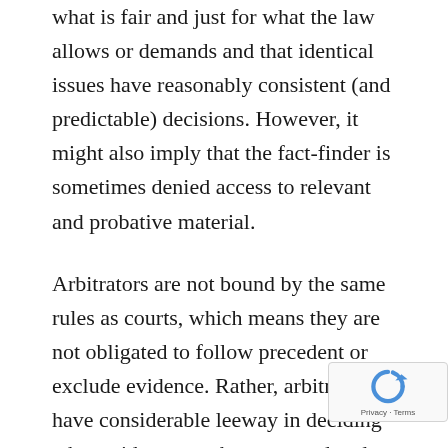what is fair and just for what the law allows or demands and that identical issues have reasonably consistent (and predictable) decisions. However, it might also imply that the fact-finder is sometimes denied access to relevant and probative material.
Arbitrators are not bound by the same rules as courts, which means they are not obligated to follow precedent or exclude evidence. Rather, arbitrators have considerable leeway in deciding what evidence can be presented and, as a result, can examine crucial material that would be inadmissible in court. They can also use their judgement to make decisions without